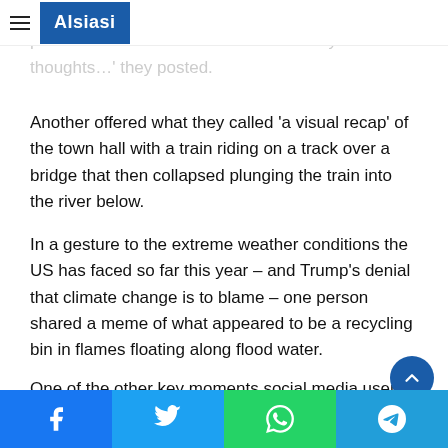Alsiasi
already voted for — and wasn't going to so I didn't plan to watch either of the town halls. My thoughts…' they posted.
Another offered what they called 'a visual recap' of the town hall with a train riding on a track over a bridge that then collapsed plunging the train into the river below.
In a gesture to the extreme weather conditions the US has faced so far this year – and Trump's denial that climate change is to blame – one person shared a meme of what appeared to be a recycling bin in flames floating along flood water.
One of the other key moments social media users picked up on was when Paulette Dale, described as leaning toward